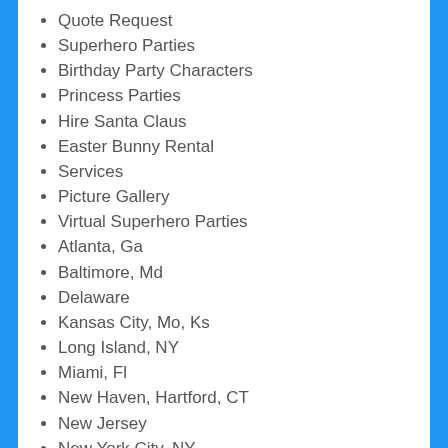Quote Request
Superhero Parties
Birthday Party Characters
Princess Parties
Hire Santa Claus
Easter Bunny Rental
Services
Picture Gallery
Virtual Superhero Parties
Atlanta, Ga
Baltimore, Md
Delaware
Kansas City, Mo, Ks
Long Island, NY
Miami, Fl
New Haven, Hartford, CT
New Jersey
New York City, NY
Orlando, Fl
Philadelphia, Pa
Pittsburgh, Pa
Tampa, Fl
Virginia...